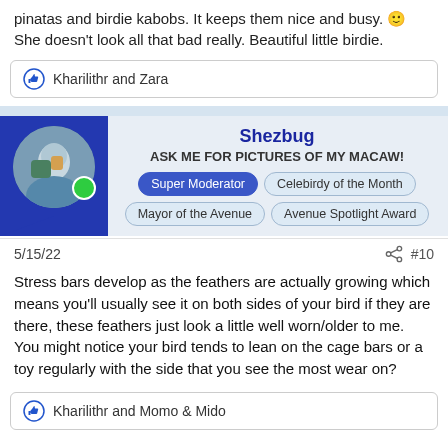pinatas and birdie kabobs. It keeps them nice and busy. 🙂 She doesn't look all that bad really. Beautiful little birdie.
👍 Kharilithr and Zara
Shezbug
ASK ME FOR PICTURES OF MY MACAW!
Super Moderator | Celebirdy of the Month | Mayor of the Avenue | Avenue Spotlight Award
5/15/22
#10
Stress bars develop as the feathers are actually growing which means you'll usually see it on both sides of your bird if they are there, these feathers just look a little well worn/older to me.
You might notice your bird tends to lean on the cage bars or a toy regularly with the side that you see the most wear on?
👍 Kharilithr and Momo & Mido